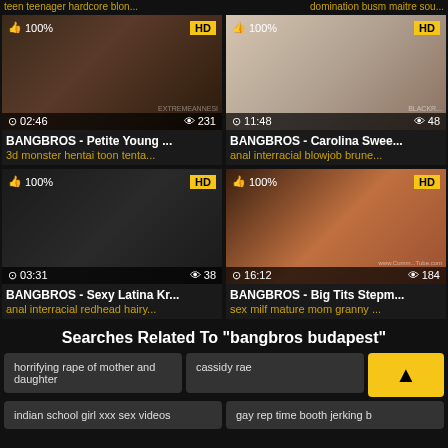teen teenager hardcore blon... | domination busm maitre sou...
[Figure (screenshot): Video thumbnail - BANGBROS Petite Young, duration 02:46, views 231, HD badge, 100% rating]
BANGBROS - Petite Young ...
3d monster hentai toon tenta...
[Figure (screenshot): Video thumbnail - BANGBROS Carolina Swee..., duration 11:48, views 48, HD badge, 100% rating]
BANGBROS - Carolina Swee...
anal interracial blowjob brune...
[Figure (screenshot): Video thumbnail - BANGBROS Sexy Latina Kr..., duration 03:31, views 38, HD badge, 100% rating]
BANGBROS - Sexy Latina Kr...
anal interracial redhead hairy...
[Figure (screenshot): Video thumbnail - BANGBROS Big Tits Stepm..., duration 16:12, views 184, HD badge, 100% rating]
BANGBROS - Big Tits Stepm...
sex milf mature mom granny ...
Searches Related To "bangbros budapest"
horrifying rape of mother and daughter
cassidy rae
indian school girl xxx sex videos
gay rep time booth jerking b